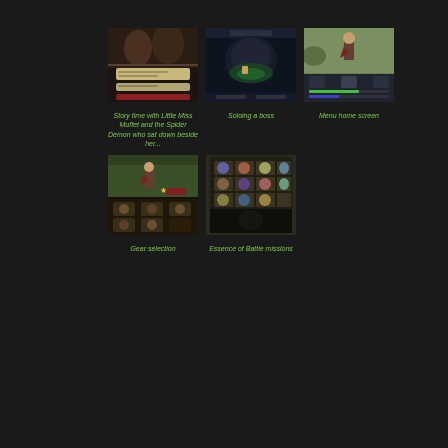[Figure (screenshot): Game screenshot showing story dialogue scene with Little Miss Muffet and Spider Demon characters]
Story time with Little Miss Muffet and the Spider Demon who sat down beside her...
[Figure (screenshot): Game screenshot showing a boss battle being soloed]
Soloing a boss
[Figure (screenshot): Game screenshot showing menu home screen with character stats]
Menu home screen
[Figure (screenshot): Game screenshot showing gear selection screen with character and equipment]
Gear selection
[Figure (screenshot): Game screenshot showing Essence of Battle missions grid with character thumbnails]
Essence of Battle missions